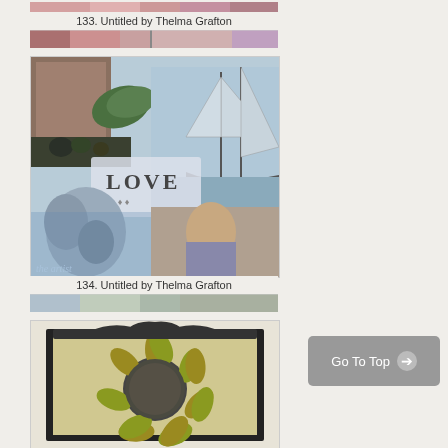[Figure (illustration): Bottom portion of artwork item 133 - floral collage strip]
133. Untitled by Thelma Grafton
[Figure (illustration): Bottom preview strip of item 133 showing floral/abstract imagery]
[Figure (photo): Mixed media collage artwork labeled 134. Shows sailboat, figures, 'LOVE' text, classic paintings, statues with blue/grey tones]
134. Untitled by Thelma Grafton
[Figure (illustration): Bottom preview strip of item 134 with script text]
[Figure (illustration): Sunflower artwork - decorative illustration with sunflower and dark frame/border]
Go To Top